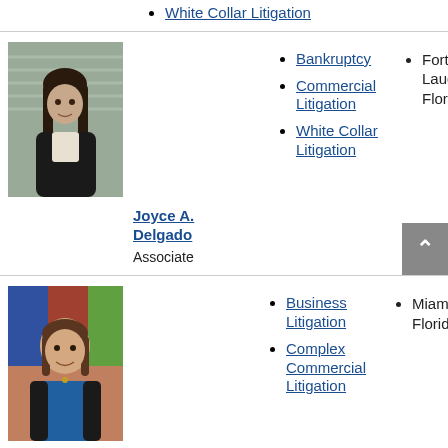White Collar Litigation
[Figure (photo): Professional headshot of Joyce A. Delgado, a woman with long dark hair wearing a black blazer with arms crossed]
Joyce A. Delgado
Associate
Bankruptcy
Commercial Litigation
White Collar Litigation
Fort Lauderdale, Florida
[Figure (photo): Professional headshot of a woman with shoulder-length brown hair, smiling, wearing a blue top and black jacket, with colorful artwork in background]
Business Litigation
Complex Commercial Litigation
Miami, Florida